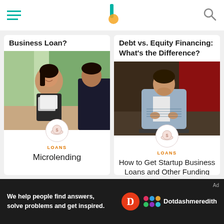Navigation bar with hamburger menu, Investopedia logo, and search icon
Business Loan?
[Figure (photo): Woman smiling at a business meeting, holding papers, sitting across from a man]
LOANS
Microlending
Debt vs. Equity Financing: What's the Difference?
[Figure (photo): Man in grey blazer working on laptop in a dimly lit setting]
LOANS
How to Get Startup Business Loans and Other Funding
Ad — We help people find answers, solve problems and get inspired. Dotdash meredith